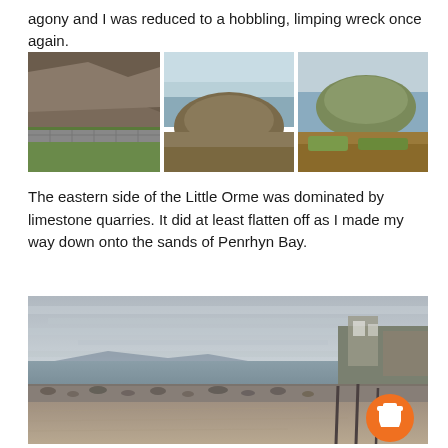agony and I was reduced to a hobbling, limping wreck once again.
[Figure (photo): Three landscape photos showing rocky hillsides and coastal views of Little Orme]
The eastern side of the Little Orme was dominated by limestone quarries. It did at least flatten off as I made my way down onto the sands of Penrhyn Bay.
[Figure (photo): Wide panoramic beach photo of Penrhyn Bay with overcast sky, pebble shore, and buildings on cliffs to the right. An orange coffee cup icon is overlaid in the bottom right corner.]